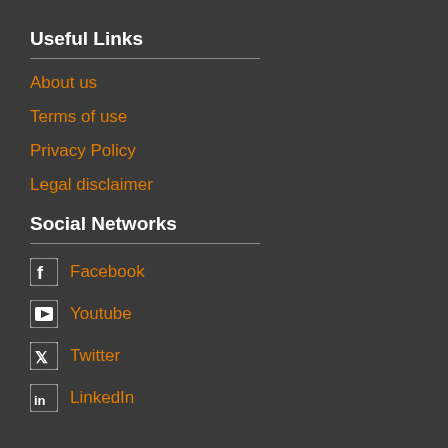Useful Links
About us
Terms of use
Privacy Policy
Legal disclaimer
Social Networks
Facebook
Youtube
Twitter
LinkedIn